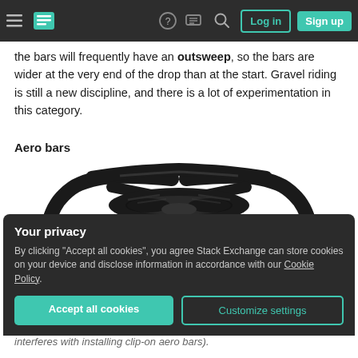Stack Exchange navigation bar with logo, icons, Log in and Sign up buttons
the bars will frequently have an outsweep, so the bars are wider at the very end of the drop than at the start. Gravel riding is still a new discipline, and there is a lot of experimentation in this category.
Aero bars
[Figure (photo): Photo of black aero handlebars viewed from the front, showing the aerodynamic wing shape with extensions.]
Your privacy
By clicking "Accept all cookies", you agree Stack Exchange can store cookies on your device and disclose information in accordance with our Cookie Policy.
Accept all cookies  Customize settings
interferes with installing clip-on aero bars).